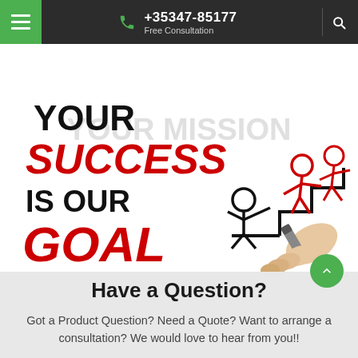+35347-85177 Free Consultation
[Figure (illustration): Motivational image with the text 'YOUR SUCCESS IS OUR GOAL' written in black and red marker-style lettering, alongside a drawn illustration of stick figures climbing stairs with one helping the other, and a hand holding a marker pen.]
Have a Question?
Got a Product Question? Need a Quote? Want to arrange a consultation? We would love to hear from you!!